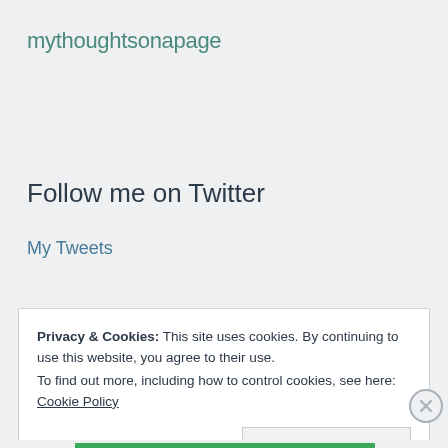mythoughtsonapage
Follow me on Twitter
My Tweets
Privacy & Cookies: This site uses cookies. By continuing to use this website, you agree to their use.
To find out more, including how to control cookies, see here: Cookie Policy
Close and accept